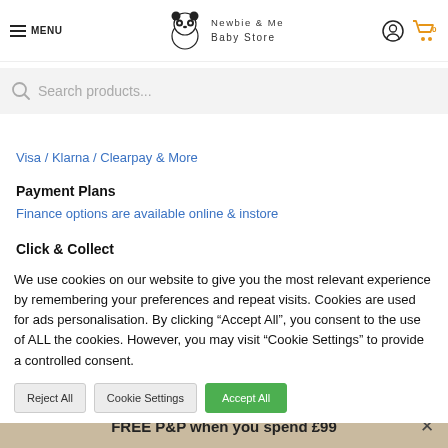MENU | Newbie & Me Baby Store | [icons]
Search products...
Visa / Klarna / Clearpay & More
Payment Plans
Finance options are available online & instore
Click & Collect
We use cookies on our website to give you the most relevant experience by remembering your preferences and repeat visits. Cookies are used for ads personalisation. By clicking "Accept All", you consent to the use of ALL the cookies. However, you may visit "Cookie Settings" to provide a controlled consent.
FREE P&P when you spend £99